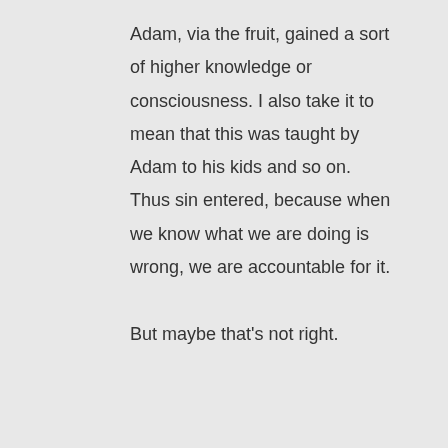Adam, via the fruit, gained a sort of higher knowledge or consciousness. I also take it to mean that this was taught by Adam to his kids and so on. Thus sin entered, because when we know what we are doing is wrong, we are accountable for it.

But maybe that's not right.